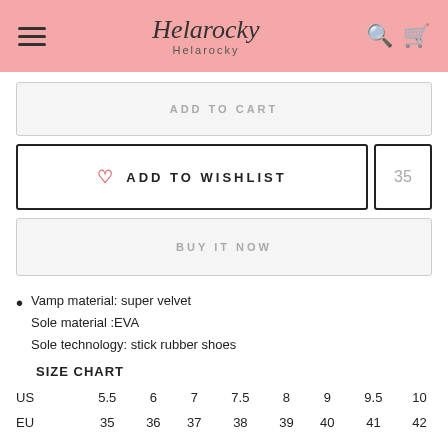Helarocky
ADD TO CART
ADD TO WISHLIST  35
BUY IT NOW
Vamp material: super velvet
Sole material :EVA
Sole technology: stick rubber shoes
|  | 5.5 | 6 | 7 | 7.5 | 8 | 9 | 9.5 | 10 |
| --- | --- | --- | --- | --- | --- | --- | --- | --- |
| US | 5.5 | 6 | 7 | 7.5 | 8 | 9 | 9.5 | 10 |
| EU | 35 | 36 | 37 | 38 | 39 | 40 | 41 | 42 |